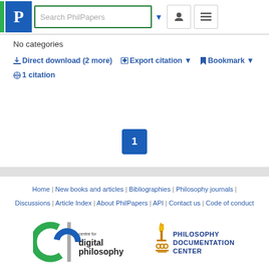[Figure (logo): PhilPapers logo with green bar and blue P box, search bar, user icon, and menu icon]
No categories
Direct download (2 more)  Export citation  Bookmark  1 citation
[Figure (other): Pagination button showing page 1]
Home | New books and articles | Bibliographies | Philosophy journals | Discussions | Article Index | About PhilPapers | API | Contact us | Code of conduct
[Figure (logo): Centre for Digital Philosophy logo (green/blue circular logo)]
[Figure (logo): Philosophy Documentation Center logo (gold torch logo)]